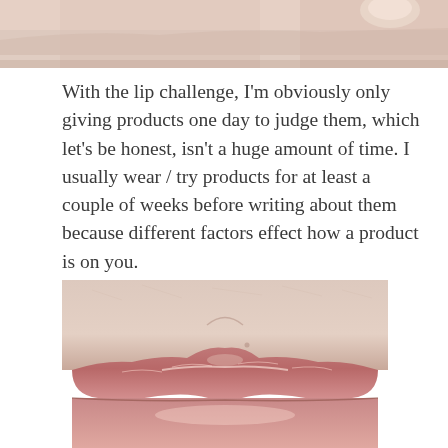[Figure (photo): Close-up photo of fingers/skin at the top of the page, cropped]
With the lip challenge, I'm obviously only giving products one day to judge them, which let's be honest, isn't a huge amount of time. I usually wear / try products for at least a couple of weeks before writing about them because different factors effect how a product is on you.
[Figure (photo): Close-up macro photo of lips showing dry/chapped upper lip area against pale skin background]